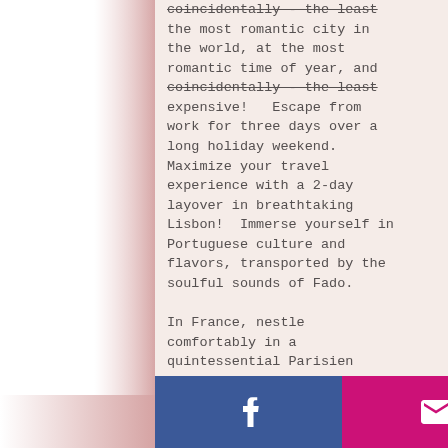... Further by visiting the most romantic city in the world, at the most romantic time of year, and coincidentally - the least expensive!   Escape from work for three days over a long holiday weekend. Maximize your travel experience with a 2-day layover in breathtaking Lisbon!  Immerse yourself in Portuguese culture and flavors, transported by the soulful sounds of Fado.

In France, nestle comfortably in a quintessential Parisien hotel, a little out from the City, but strategically located near Paris' incomparable Metro. Over the next 72hrs, opt to join the
[Figure (other): Social media footer bar with four buttons: Facebook (blue), Email/envelope (pink/magenta), Instagram (black), Phone (green)]